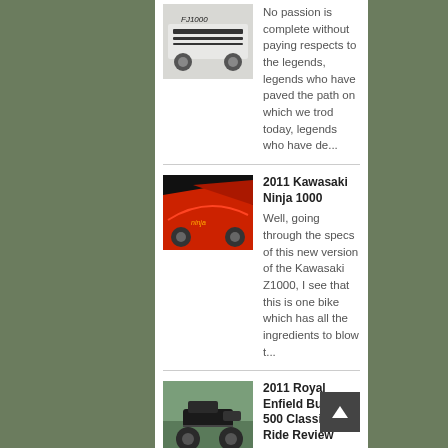No passion is complete without paying respects to the legends, legends who have paved the path on which we trod today, legends who have de...
[Figure (photo): Thumbnail photo of a motorcycle (Yamaha FJ1000) - white/silver bike]
2011 Kawasaki Ninja 1000
[Figure (photo): Thumbnail photo of a red Kawasaki Ninja 1000 motorcycle]
Well, going through the specs of this new version of the Kawasaki Z1000, I see that this is one bike which has all the ingredients to blow t...
2011 Royal Enfield Bullet 500 Classic Efi - Ride Review
[Figure (photo): Thumbnail photo of a Royal Enfield Bullet 500 Classic motorcycle, dark colored bike outdoors]
Anybody who knows me knows that, I'm not that much inclined towards choppers and cruisers. Bullets have remained a bit out of my predile...